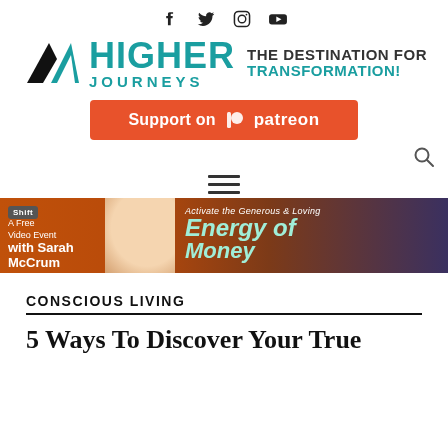Higher Journeys — The Destination for Transformation!
[Figure (logo): Higher Journeys logo with mountain/chevron icon in black and teal, text HIGHER JOURNEYS in teal, tagline THE DESTINATION FOR TRANSFORMATION! in dark and teal]
[Figure (other): Support on Patreon button — orange rectangle with Patreon logo]
[Figure (other): Advertisement banner: Shift Network — A Free Video Event with Sarah McCrum — Activate the Generous & Loving Energy of Money]
CONSCIOUS LIVING
5 Ways To Discover Your True